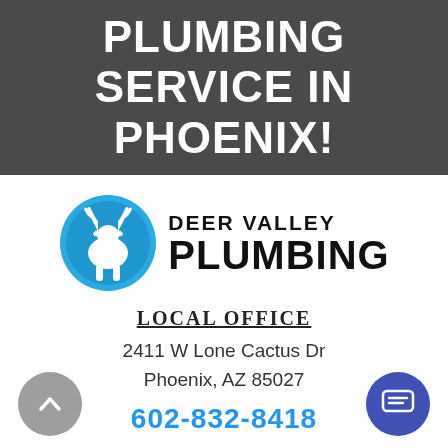PLUMBING SERVICE IN PHOENIX!
[Figure (logo): Deer Valley Plumbing logo: blue circle with white deer antler illustration, next to bold black text reading DEER VALLEY PLUMBING]
LOCAL OFFICE
2411 W Lone Cactus Dr
Phoenix, AZ 85027
602-832-8418